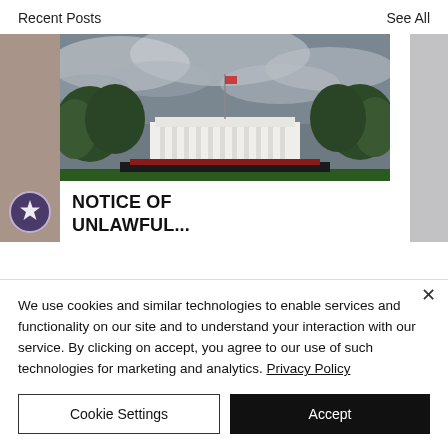Recent Posts   See All
[Figure (photo): Left partially visible image strip showing a circular badge/patch with a star emblem]
[Figure (photo): Photo of the White House South Portico under a dramatic cloudy sky, surrounded by green trees]
NOTICE OF UNLAWFUL...
[Figure (photo): Right partially visible image strip showing gray tones]
We use cookies and similar technologies to enable services and functionality on our site and to understand your interaction with our service. By clicking on accept, you agree to our use of such technologies for marketing and analytics. Privacy Policy
Cookie Settings
Accept